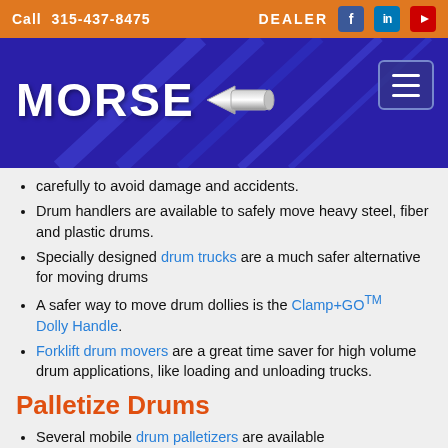Call 315-437-8475 | DEALER
[Figure (logo): Morse Manufacturing logo on blue/purple background with hamburger menu icon]
carefully to avoid damage and accidents.
Drum handlers are available to safely move heavy steel, fiber and plastic drums.
Specially designed drum trucks are a much safer alternative for moving drums
A safer way to move drum dollies is the Clamp+GO™ Dolly Handle.
Forklift drum movers are a great time saver for high volume drum applications, like loading and unloading trucks.
Palletize Drums
Several mobile drum palletizers are available
Some customers use a below-hook drum lifter with